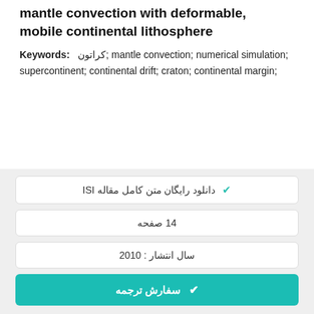mantle convection with deformable, mobile continental lithosphere
Keywords: کراتون; mantle convection; numerical simulation; supercontinent; continental drift; craton; continental margin;
✔ دانلود رایگان متن کامل مقاله ISI
14 صفحه
سال انتشار : 2010
✔ سفارش ترجمه